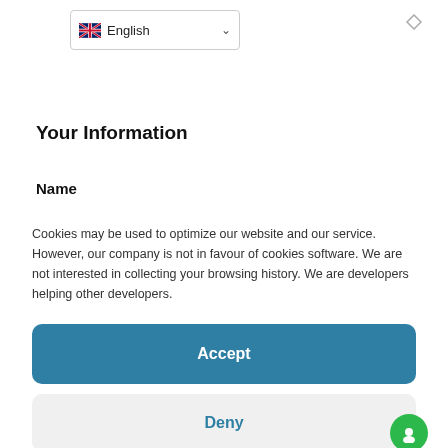[Figure (screenshot): Language selector dropdown showing UK flag and 'English' with chevron]
Your Information
Name
Cookies may be used to optimize our website and our service. However, our company is not in favour of cookies software. We are not interested in collecting your browsing history. We are developers helping other developers.
Accept
Deny
Preferences